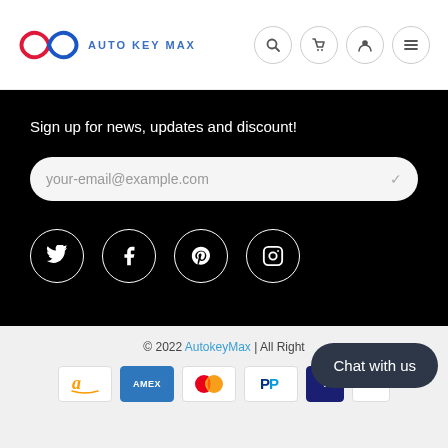[Figure (logo): Auto Key Max logo with infinity symbol in red and blue, followed by text AUTO KEY MAX in blue]
[Figure (infographic): Navigation icons: search, cart, user, hamburger menu in circular borders]
Sign up for news, updates and discount!
[Figure (infographic): Email input field with placeholder your-email@example.com]
[Figure (infographic): Social media icons: Twitter, Facebook, Pinterest, Instagram in white circles on black background]
© 2022 AutokeyMax | All Right
[Figure (infographic): Payment method icons: Amazon, Amex, Mastercard, PayPal, and one partially visible]
[Figure (infographic): Chat with us button bubble in dark navy]